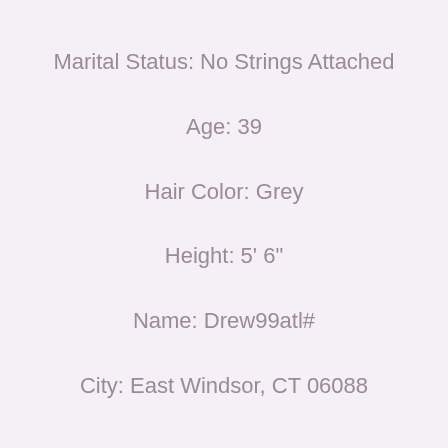Marital Status: No Strings Attached
Age: 39
Hair Color: Grey
Height: 5' 6"
Name: Drew99atl#
City: East Windsor, CT 06088